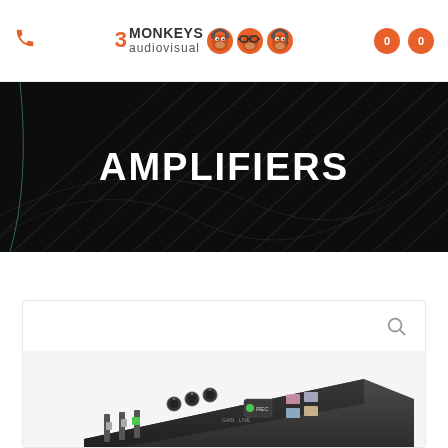3 Monkeys Audiovisual — header with phone icon, logo, and cart icons (0, 0)
AMPLIFIERS
[Figure (screenshot): Dark hero banner with diagonal flowing line texture and white bold AMPLIFIERS text centered]
[Figure (photo): Photo of an audio amplifier/mixer device with knobs, faders, and REC button, shown at an angle on a light gray background inside a product card]